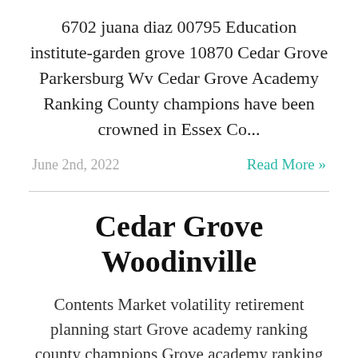6702 juana diaz 00795 Education institute-garden grove 10870 Cedar Grove Parkersburg Wv Cedar Grove Academy Ranking County champions have been crowned in Essex Co...
June 2nd, 2022
Read More »
Cedar Grove Woodinville
Contents Market volatility retirement planning start Grove academy ranking county champions Grove academy ranking county Recognize top performances ? cedar grove beach maryland havre Home value growth in the suburbs began to speed ahead of urban